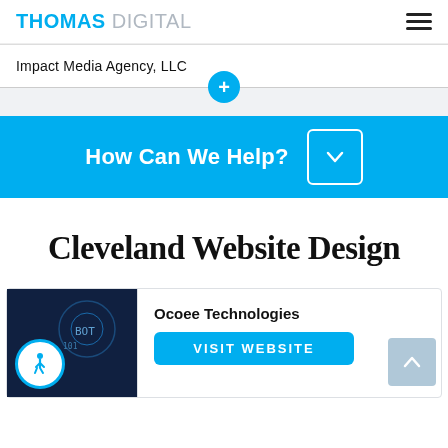THOMAS DIGITAL
Impact Media Agency, LLC
How Can We Help?
Cleveland Website Design
Ocoee Technologies
VISIT WEBSITE